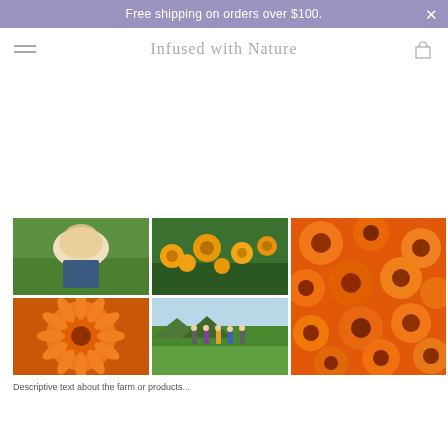Free shipping on orders over $100.
Infused with Nature
[Figure (photo): A collage of five photos: a woman picking flowers in a field, a field of orange marigold/calendula flowers, a close-up of a single large orange calendula flower, a group of people in a flower field, and a large close-up of many orange calendula flowers packed together.]
Descriptive text about the farm or products (partially visible at bottom)